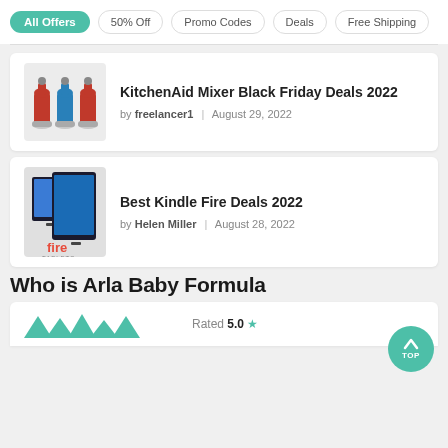All Offers
50% Off
Promo Codes
Deals
Free Shipping
KitchenAid Mixer Black Friday Deals 2022
by freelancer1 | August 29, 2022
Best Kindle Fire Deals 2022
by Helen Miller | August 28, 2022
Who is Arla Baby Formula